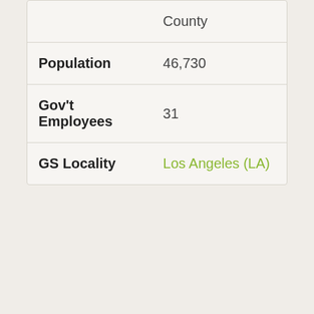| Category | County |
| --- | --- |
| Population | 46,730 |
| Gov't Employees | 31 |
| GS Locality | Los Angeles (LA) |